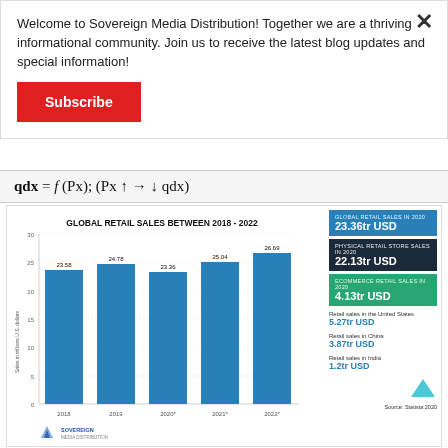Welcome to Sovereign Media Distribution! Together we are a thriving informational community. Join us to receive the latest blog updates and special information!
Subscribe
[Figure (bar-chart): GLOBAL RETAIL SALES BETWEEN 2018 - 2022]
Source: Statista 2020
GLOBAL RETAIL SALES IN 2020: 23.36tr USD
PHYSICAL RETAIL STORE SALES IN 2020: 22.13tr USD
ECOMMERCE RETAIL SALES IN 2020: 4.13tr USD
Retail sales in the United States 5.27tr USD
Retail sales in China 3.87tr USD
Retail sales in India 1.2tr USD